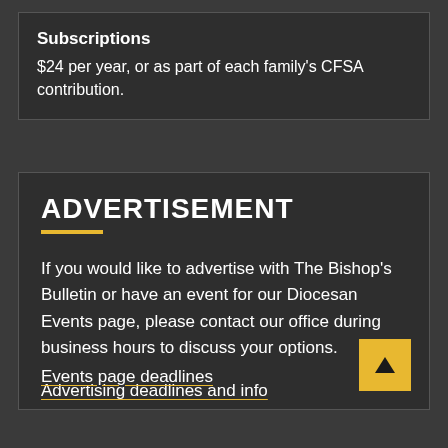Subscriptions
$24 per year, or as part of each family's CFSA contribution.
ADVERTISEMENT
If you would like to advertise with The Bishop's Bulletin or have an event for our Diocesan Events page, please contact our office during business hours to discuss your options.
Advertising deadlines and info
Events page deadlines